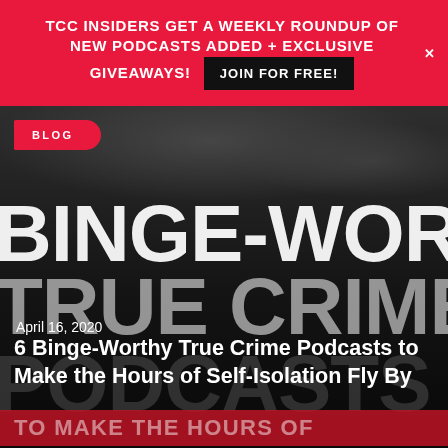TCC INSIDERS GET A WEEKLY ROUNDUP OF NEW PODCASTS ADDED + EXCLUSIVE GIVEAWAYS! JOIN FOR FREE!
[Figure (screenshot): Dark background image with large white bold text reading BINGE-WORTH, TRUE CRIME, PODCASTS in overlapping large typography. A red BLOG tag in the top left, date April 16, 2020, article title, and a red bottom banner reading TO MAKE THE HOURS OF.]
April 16, 2020
6 Binge-Worthy True Crime Podcasts to Make the Hours of Self-Isolation Fly By
Self-isolation is no fun. You're stuck inside. You